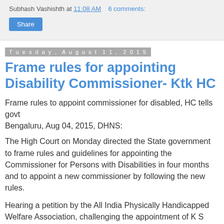Subhash Vashishth at 11:08 AM   6 comments:
Share
Tuesday, August 11, 2015
Frame rules for appointing Disability Commissioner- Ktk HC
Frame rules to appoint commissioner for disabled, HC tells govt
Bengaluru, Aug 04, 2015, DHNS:
The High Court on Monday directed the State government to frame rules and guidelines for appointing the Commissioner for Persons with Disabilities in four months and to appoint a new commissioner by following the new rules.
Hearing a petition by the All India Physically Handicapped Welfare Association, challenging the appointment of K S Rajanna as the Commissioner for Persons with Disabilities, a division bench comprising acting Chief Justice S K